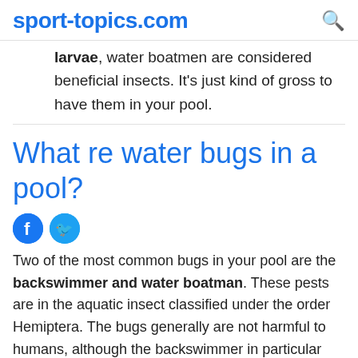sport-topics.com
larvae, water boatmen are considered beneficial insects. It's just kind of gross to have them in your pool.
What re water bugs in a pool?
Two of the most common bugs in your pool are the backswimmer and water boatman. These pests are in the aquatic insect classified under the order Hemiptera. The bugs generally are not harmful to humans, although the backswimmer in particular